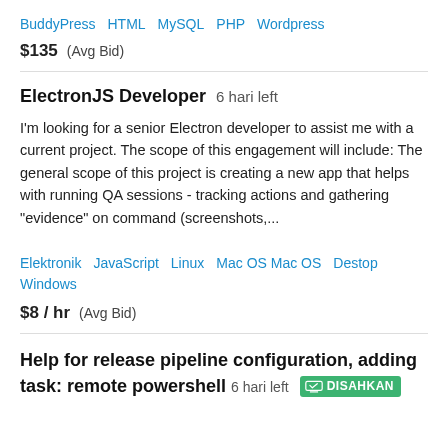BuddyPress  HTML  MySQL  PHP  Wordpress
$135  (Avg Bid)
ElectronJS Developer  6 hari left
I'm looking for a senior Electron developer to assist me with a current project. The scope of this engagement will include: The general scope of this project is creating a new app that helps with running QA sessions - tracking actions and gathering "evidence" on command (screenshots,...
Elektronik  JavaScript  Linux  Mac OS Mac OS  Destop Windows
$8 / hr  (Avg Bid)
Help for release pipeline configuration, adding task: remote powershell  6 hari left  DISAHKAN